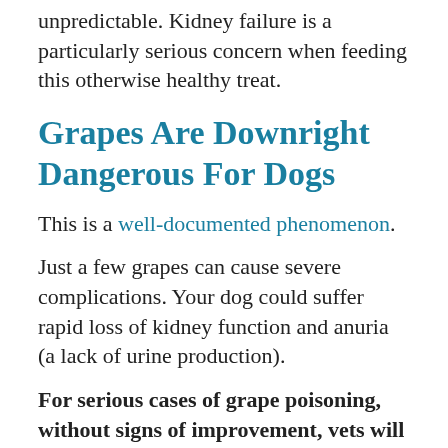unpredictable. Kidney failure is a particularly serious concern when feeding this otherwise healthy treat.
Grapes Are Downright Dangerous For Dogs
This is a well-documented phenomenon.
Just a few grapes can cause severe complications. Your dog could suffer rapid loss of kidney function and anuria (a lack of urine production).
For serious cases of grape poisoning, without signs of improvement, vets will often suggest putting the animal down